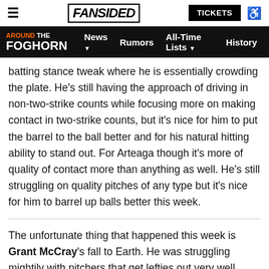≡  FANSIDED  TICKETS  ♿
AROUND THE FOGHORN  News ▾  Rumors  All-Time Lists ▾  History
batting stance tweak where he is essentially crowding the plate. He's still having the approach of driving in non-two-strike counts while focusing more on making contact in two-strike counts, but it's nice for him to put the barrel to the ball better and for his natural hitting ability to stand out. For Arteaga though it's more of quality of contact more than anything as well. He's still struggling on quality pitches of any type but it's nice for him to barrel up balls better this week.
The unfortunate thing that happened this week is Grant McCray's fall to Earth. He was struggling mightily with pitchers that get lefties out very well (lefties with good breaking balls and righties with outstanding changeups) and that exhibits his massive platoon tendency. The tools, the ability to stick at center field, and the struggles against righties make McCray give off Steven Duggar vibes. You might think that the Duggar comp might be bad but Duggar has been a serviceable bat for the Giants for a few